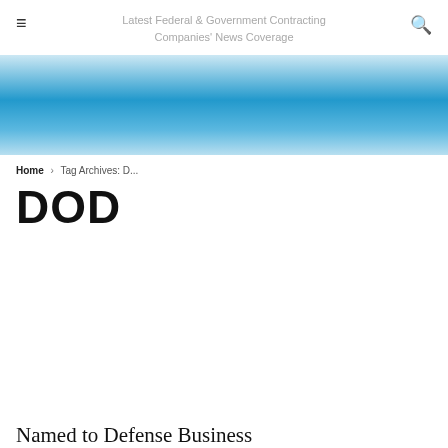Latest Federal & Government Contracting Companies' News Coverage
[Figure (other): Blue gradient hero banner image]
Home › Tag Archives: D...
DOD
We use cookies to offer you a better browsing experience, analyze site traffic, personalize content, and serve targeted advertisements. Read about how we use cookies and how you can control them on our Privacy Policy. If you continue to use this site, you consent to our use of cookies.
Named to Defense Business